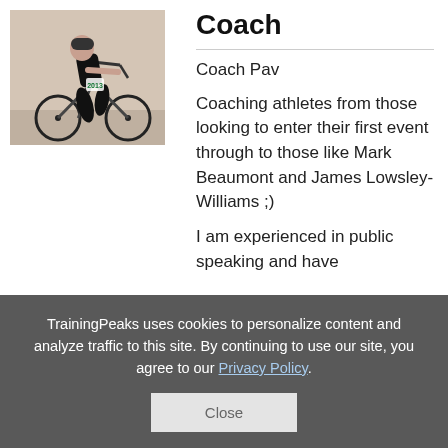[Figure (photo): A cyclist riding a road bike, wearing black cycling kit with race number 2013, photographed from the front-side angle on a road.]
Coach
Coach Pav
Coaching athletes from those looking to enter their first event through to those like Mark Beaumont and James Lowsley-Williams ;)
I am experienced in public speaking and have
TrainingPeaks uses cookies to personalize content and analyze traffic to this site. By continuing to use our site, you agree to our Privacy Policy.
Close